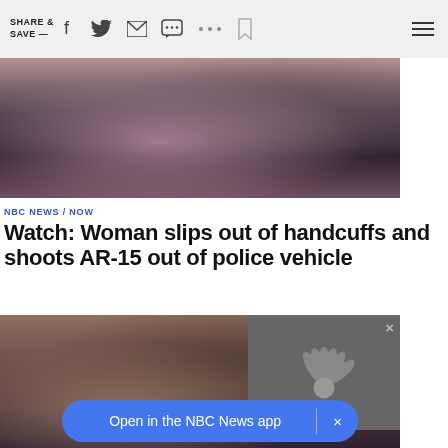SHARE & SAVE —  [social icons: Facebook, Twitter, Email, Chat, More, Bookmark]  [Hamburger menu]
[Figure (photo): Close-up photo of what appears to be a gun or weapon with dark, blurry background, pinkish tones]
NBC NEWS / NOW
Watch: Woman slips out of handcuffs and shoots AR-15 out of police vehicle
[Figure (photo): Blurry photo of people including a woman with blonde hair, overlaid by NBC News app logo (peacock) on dark grey background with X close button]
Open in the NBC News app  ×